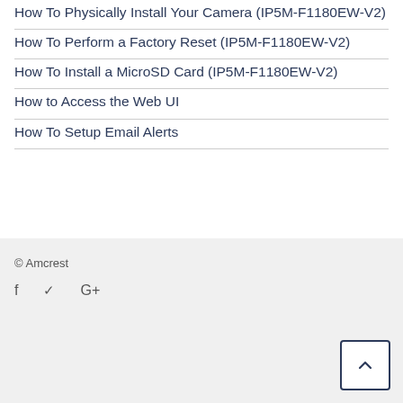How To Physically Install Your Camera (IP5M-F1180EW-V2)
How To Perform a Factory Reset (IP5M-F1180EW-V2)
How To Install a MicroSD Card (IP5M-F1180EW-V2)
How to Access the Web UI
How To Setup Email Alerts
© Amcrest
f  ✓  G+